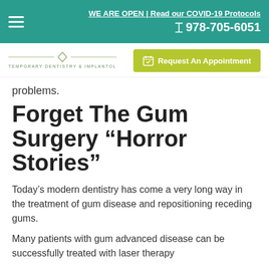WE ARE OPEN | Read our COVID-19 Protocols
☎ 978-705-6051
[Figure (logo): Contemporary Dentistry & Implantology logo with decorative divider and text]
problems.
Forget The Gum Surgery “Horror Stories”
Today’s modern dentistry has come a very long way in the treatment of gum disease and repositioning receding gums.
Many patients with gum advanced disease can be successfully treated with laser therapy